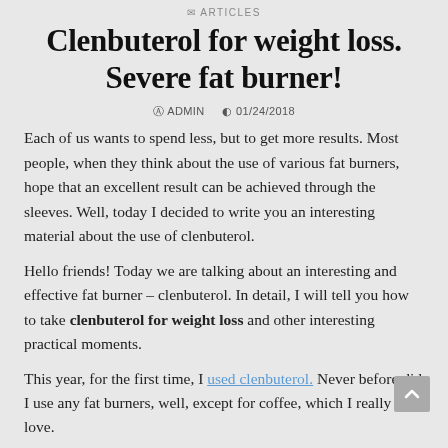ARTICLES
Clenbuterol for weight loss. Severe fat burner!
ADMIN   01/24/2018
Each of us wants to spend less, but to get more results. Most people, when they think about the use of various fat burners, hope that an excellent result can be achieved through the sleeves. Well, today I decided to write you an interesting material about the use of clenbuterol.
Hello friends! Today we are talking about an interesting and effective fat burner – clenbuterol. In detail, I will tell you how to take clenbuterol for weight loss and other interesting practical moments.
This year, for the first time, I used clenbuterol. Never before did I use any fat burners, well, except for coffee, which I really love.
This year I wanted to get a practical case on how to apply various types of fat burners and learn the effects of the